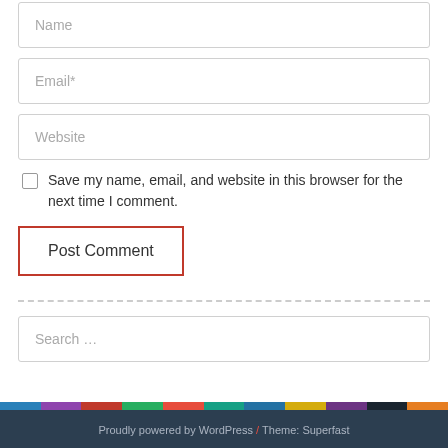Name
Email*
Website
Save my name, email, and website in this browser for the next time I comment.
Post Comment
Search …
Proudly powered by WordPress / Theme: Superfast